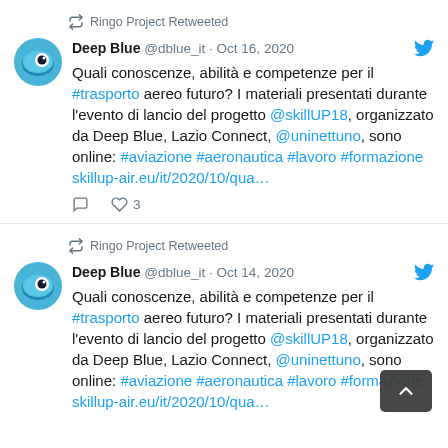Ringo Project Retweeted
Deep Blue @dblue_it · Oct 16, 2020 — Quali conoscenze, abilità e competenze per il #trasporto aereo futuro? I materiali presentati durante l'evento di lancio del progetto @skillUP18, organizzato da Deep Blue, Lazio Connect, @uninettuno, sono online: #aviazione #aeronautica #lavoro #formazione skillup-air.eu/it/2020/10/qua…
Ringo Project Retweeted
Deep Blue @dblue_it · Oct 14, 2020 — Quali conoscenze, abilità e competenze per il #trasporto aereo futuro? I materiali presentati durante l'evento di lancio del progetto @skillUP18, organizzato da Deep Blue, Lazio Connect, @uninettuno, sono online: #aviazione #aeronautica #lavoro #formazione skillup-air.eu/it/2020/10/qua…